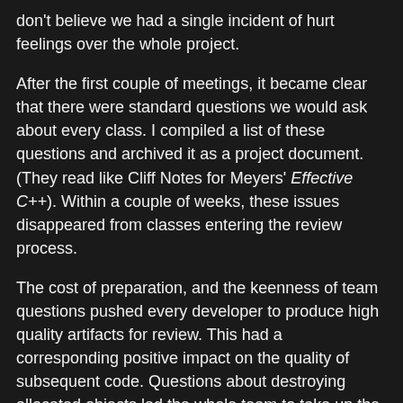don't believe we had a single incident of hurt feelings over the whole project.
After the first couple of meetings, it became clear that there were standard questions we would ask about every class. I compiled a list of these questions and archived it as a project document. (They read like Cliff Notes for Meyers' Effective C++). Within a couple of weeks, these issues disappeared from classes entering the review process.
The cost of preparation, and the keenness of team questions pushed every developer to produce high quality artifacts for review. This had a corresponding positive impact on the quality of subsequent code. Questions about destroying allocated objects led the whole team to take up the use of smart pointers. The RAII idiom was demonstrated and became commonplace in the code. In this way, the best developers taught good practice to the rest of the team, who were learning C++ as they wrote the code.
Later on, as the project approached code complete, we began to review the code, using the same meeting process.